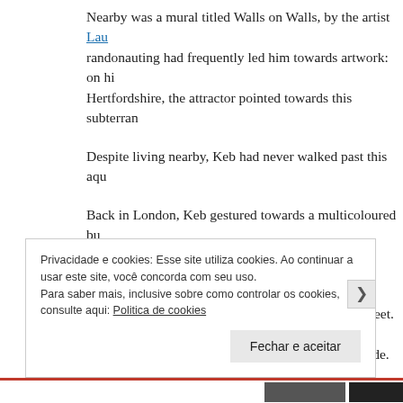Nearby was a mural titled Walls on Walls, by the artist Lau... randonauting had frequently led him towards artwork: on hi... Hertfordshire, the attractor pointed towards this subterran...
Despite living nearby, Keb had never walked past this aqu...
Back in London, Keb gestured towards a multicoloured bu... was located. Resting on top of it was this purple toy gecko...
The next point took us to an office by Hardwick Street. Ke... suggested we go in, but I insisted that we stay outside. (A... worried about having to explain quantum consciousness to... residential areas, just say you're looking for your cat. If it's...
Privacidade e cookies: Esse site utiliza cookies. Ao continuar a usar este site, você concorda com seu uso.
Para saber mais, inclusive sobre como controlar os cookies, consulte aqui: Politica de cookies

Fechar e aceitar